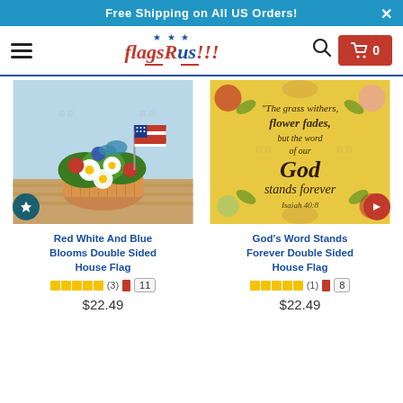Free Shipping on All US Orders!
[Figure (screenshot): FlagsRus!!! e-commerce website navigation bar with hamburger menu, logo, search icon, and cart button showing 0 items]
[Figure (photo): Red White And Blue Blooms Double Sided House Flag product image showing a basket of flowers with an American flag]
[Figure (photo): God's Word Stands Forever Double Sided House Flag product image showing yellow background with floral border and scripture text Isaiah 40:8]
Red White And Blue Blooms Double Sided House Flag
(3) 11 $22.49
God's Word Stands Forever Double Sided House Flag
(1) 8 $22.49